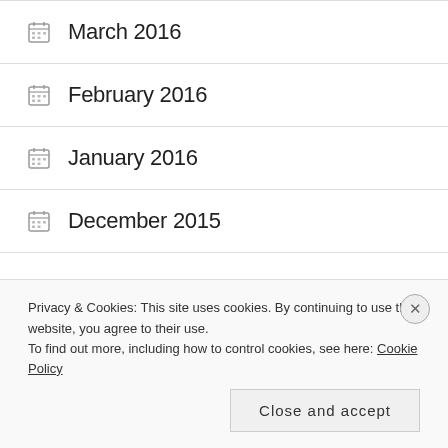March 2016
February 2016
January 2016
December 2015
Privacy & Cookies: This site uses cookies. By continuing to use this website, you agree to their use.
To find out more, including how to control cookies, see here: Cookie Policy
Close and accept